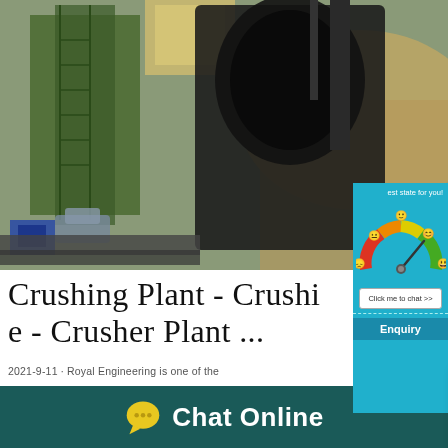[Figure (photo): Industrial crushing plant machinery with green metal structures and dark crushing equipment on a hillside background]
[Figure (screenshot): Live chat popup overlay with workers in yellow hardhats, LIVE CHAT heading in red italic, 'Click for a Free Consultation' text, red 'Chat now' button and dark 'Chat later' button]
[Figure (infographic): Satisfaction gauge widget on blue background with emoji faces from sad to happy arranged around a semicircle gauge, with 'Click me to chat >>' button and 'Enquiry' label]
Crushing Plant - Crushing e - Crusher Plant ...
2021-9-11 · Royal Engineering is one of the
[Figure (logo): Yellow chat bubble icon with three dots next to 'Chat Online' text in white on dark teal background]